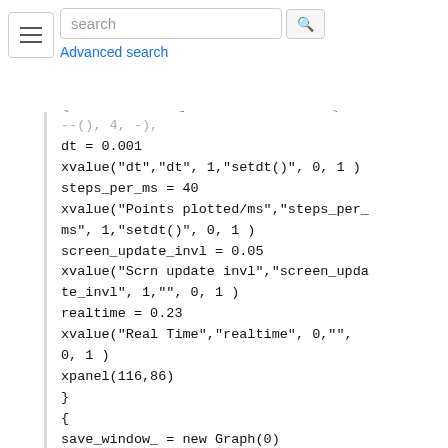search | Advanced search
[Figure (logo): SenseLab logo]
[Figure (logo): MicrocircuitDB logo]
[Figure (logo): ModelDB logo]
--(), 4, -),
dt = 0.001
xvalue("dt","dt", 1,"setdt()", 0, 1 )
steps_per_ms = 40
xvalue("Points plotted/ms","steps_per_ms", 1,"setdt()", 0, 1 )
screen_update_invl = 0.05
xvalue("Scrn update invl","screen_update_invl", 1,"", 0, 1 )
realtime = 0.23
xvalue("Real Time","realtime", 0,"", 0, 1 )
xpanel(116,86)
}
{
save_window_ = new Graph(0)
save_window_.size(0,50,-70,-60)
scene_vector_[4] = save_window_
{save_window_.view(0, -70, 50, 10, 677, 10, 300.48, 200.32)}